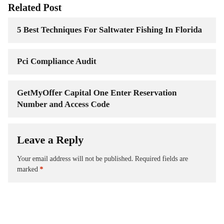Related Post
5 Best Techniques For Saltwater Fishing In Florida
Pci Compliance Audit
GetMyOffer Capital One Enter Reservation Number and Access Code
Leave a Reply
Your email address will not be published. Required fields are marked *